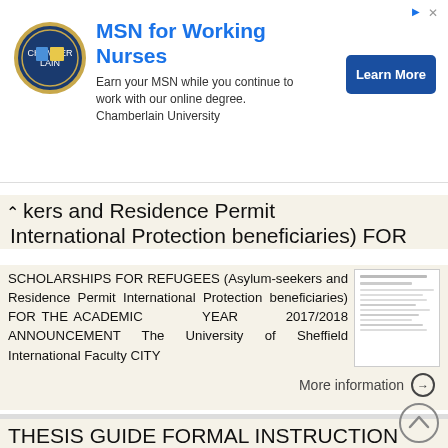[Figure (screenshot): Advertisement banner for Chamberlain University MSN for Working Nurses with logo and Learn More button]
kers and Residence Permit International Protection beneficiaries) FOR
SCHOLARSHIPS FOR REFUGEES (Asylum-seekers and Residence Permit International Protection beneficiaries) FOR THE ACADEMIC YEAR 2017/2018 ANNOUNCEMENT The University of Sheffield International Faculty CITY
More information →
THESIS GUIDE FORMAL INSTRUCTION GUIDE FOR MASTER S THESIS WRITING SCHOOL OF BUSINESS